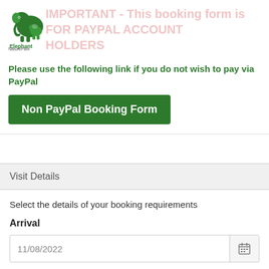[Figure (logo): Elephant Nature Park logo — green elephant illustration with text 'Elephant NaturePark']
IMPORTANT - This booking form is FOR PAYPAL ACCOUNT HOLDERS (watermark)
Please use the following link if you do not wish to pay via PayPal
Non PayPal Booking Form
Visit Details
Select the details of your booking requirements
Arrival
11/08/2022